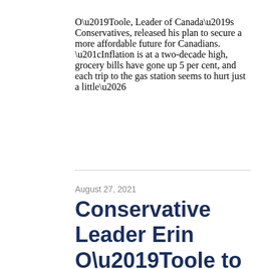O’Toole, Leader of Canada’s Conservatives, released his plan to secure a more affordable future for Canadians. “Inflation is at a two-decade high, grocery bills have gone up 5 per cent, and each trip to the gas station seems to hurt just a little…
August 27, 2021
Conservative Leader Erin O’Toole to increase EI benefits for seriously